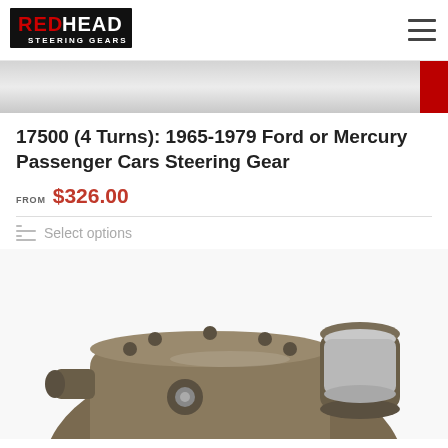RedHead Steering Gears
[Figure (photo): Partial banner image showing a light grey/white background with a red right edge, likely a cropped product or header image]
17500 (4 Turns): 1965-1979 Ford or Mercury Passenger Cars Steering Gear
FROM $326.00
Select options
[Figure (photo): Photograph of a steering gear component — a brown/olive metal casting with bolts, a cylindrical section, and mechanical fittings for a 1965-1979 Ford or Mercury passenger car]